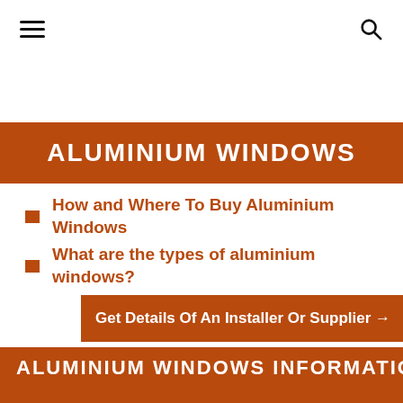[hamburger menu icon] [search icon]
ALUMINIUM WINDOWS
How and Where To Buy Aluminium Windows
What are the types of aluminium windows?
Who makes the best aluminium windows?
Aluminium Sliding Sash Windows Explained
Get Details Of An Installer Or Supplier →
ALUMINIUM WINDOWS INFORMATION